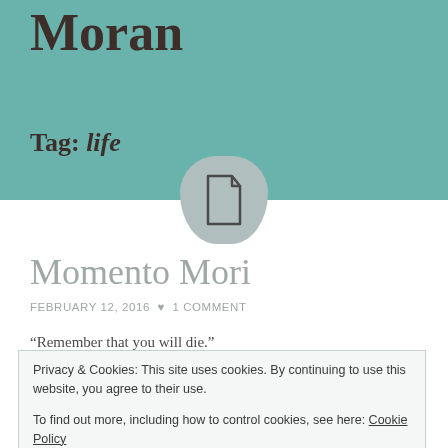Moran
Tag: life
[Figure (illustration): A document file icon inside a teardrop/circle shape with grey background]
Momento Mori
FEBRUARY 12, 2016 ♥ 1 COMMENT
“Remember that you will die.”
Privacy & Cookies: This site uses cookies. By continuing to use this website, you agree to their use.
To find out more, including how to control cookies, see here: Cookie Policy
Close and accept
the past couple of years, I’ve changed my perspective of